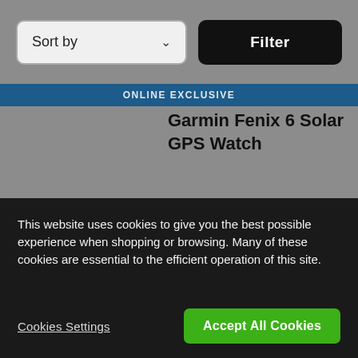[Figure (screenshot): Sort by dropdown button with chevron]
[Figure (screenshot): Filter button in black]
ONLINE EXCLUSIVE
Garmin Fenix 6 Solar GPS Watch
£649.99
This website uses cookies to give you the best possible experience when shopping or browsing. Many of these cookies are essential to the efficient operation of this site.
Cookies Settings
Accept All Cookies